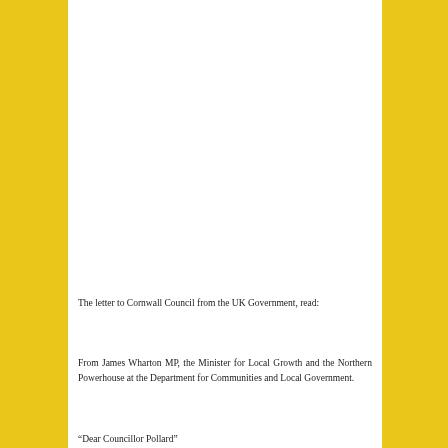The letter to Cornwall Council from the UK Government, read:
From James Wharton MP, the Minister for Local Growth and the Northern Powerhouse at the Department for Communities and Local Government.
“Dear Councillor Pollard”